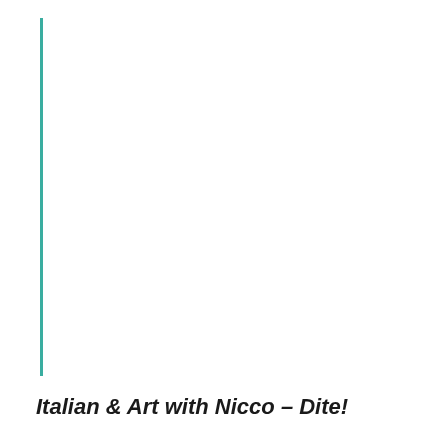Italian & Art with Nicco – Dite!